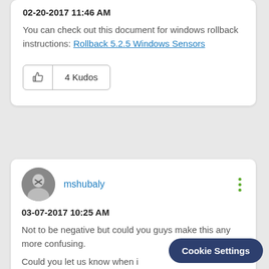02-20-2017 11:46 AM
You can check out this document for windows rollback instructions: Rollback 5.2.5 Windows Sensors
[Figure (other): Kudos button with thumbs up icon and '4 Kudos' label]
[Figure (other): User avatar - circular profile photo of mshubaly]
mshubaly
03-07-2017 10:25 AM
Not to be negative but could you guys make this any more confusing.
Could you let us know when i to 5.2.6 release. Safe meaning
Cookie Settings